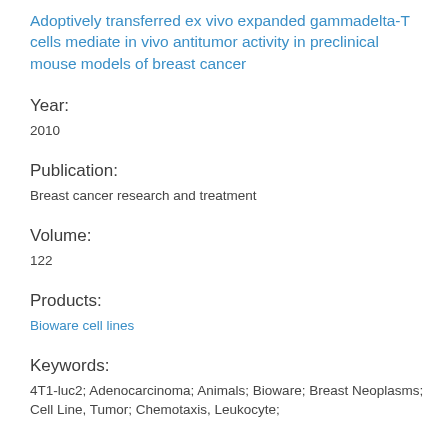Adoptively transferred ex vivo expanded gammadelta-T cells mediate in vivo antitumor activity in preclinical mouse models of breast cancer
Year:
2010
Publication:
Breast cancer research and treatment
Volume:
122
Products:
Bioware cell lines
Keywords:
4T1-luc2; Adenocarcinoma; Animals; Bioware; Breast Neoplasms; Cell Line, Tumor; Chemotaxis, Leukocyte;